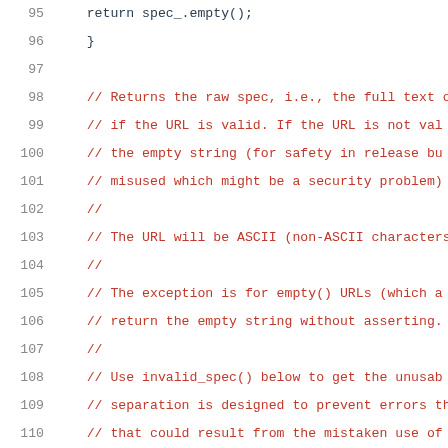[Figure (screenshot): Source code listing showing lines 95-116 of a C++ file. Line numbers are in gray on the left, code comments are in red, and code keywords/identifiers are in blue. The code shows a class method spec() returning a const std::string& reference, with extensive comments explaining URL handling behavior.]